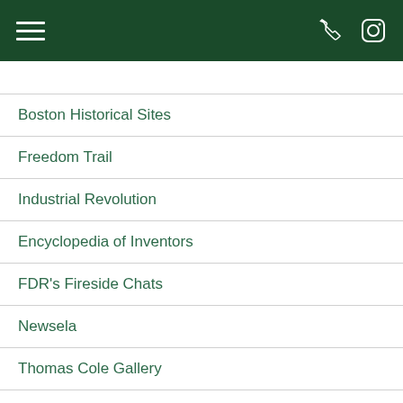[navigation header with hamburger menu, phone icon, instagram icon]
Boston Historical Sites
Freedom Trail
Industrial Revolution
Encyclopedia of Inventors
FDR's Fireside Chats
Newsela
Thomas Cole Gallery
Back to School 2021
Back to School Slide Show